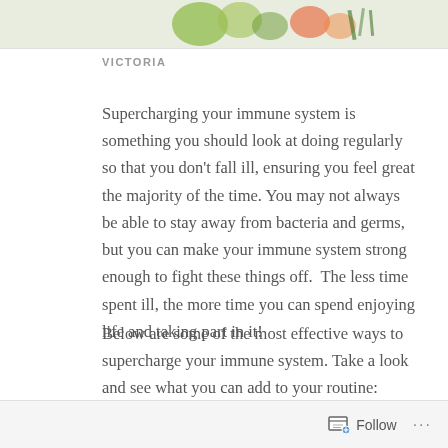[Figure (photo): Partial image of fruits and vegetables including limes and herbs at the top of the page]
VICTORIA
Supercharging your immune system is something you should look at doing regularly so that you don't fall ill, ensuring you feel great the majority of the time. You may not always be able to stay away from bacteria and germs, but you can make your immune system strong enough to fight these things off.  The less time spent ill, the more time you can spend enjoying life and taking part in it!
Below are some of the most effective ways to supercharge your immune system. Take a look and see what you can add to your routine:
Follow ...